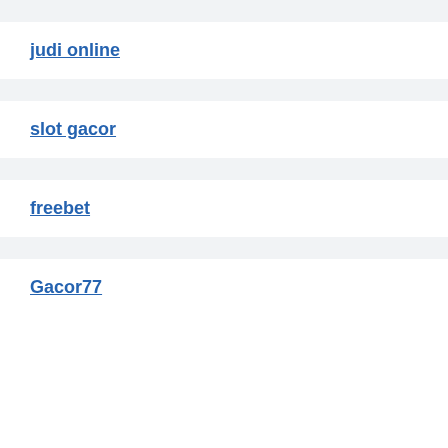judi online
slot gacor
freebet
Gacor77